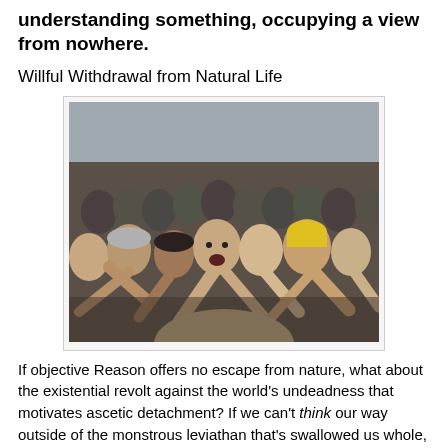understanding something, occupying a view from nowhere.
Willful Withdrawal from Natural Life
[Figure (photo): A large crowd of people with arms outstretched and reaching forward, appearing chaotic and agitated, resembling a zombie horde scene.]
If objective Reason offers no escape from nature, what about the existential revolt against the world’s undeadness that motivates ascetic detachment? If we can’t think our way outside of the monstrous leviathan that’s swallowed us whole, can we will our way to transcendence by choosing to renounce our natural privileges, including wealth, sex, popularity, and happiness? Can we make ourselves